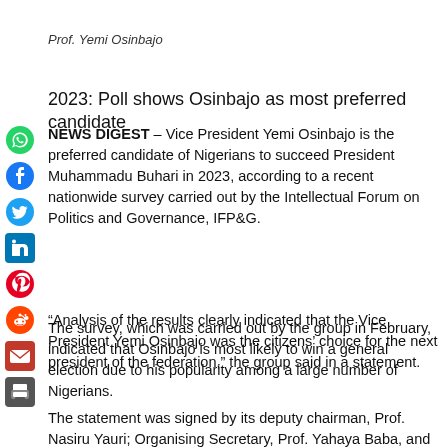Prof. Yemi Osinbajo
2023: Poll shows Osinbajo as most preferred candidate
NEWS DIGEST – Vice President Yemi Osinbajo is the preferred candidate of Nigerians to succeed President Muhammadu Buhari in 2023, according to a recent nationwide survey carried out by the Intellectual Forum on Politics and Governance, IFP&G.
The survey, which was carried out by the group in February, indicated that Osinbajo is most likely to win a general election due to his popularity among a large number of Nigerians.
“Analysis of the results clearly indicated that the Vice President Yemi Osinbajo was the citizens’ choice for the next president of the federation,” the group said in a statement.
The statement was signed by its deputy chairman, Prof. Nasiru Yauri; Organising Secretary, Prof. Yahaya Baba, and member